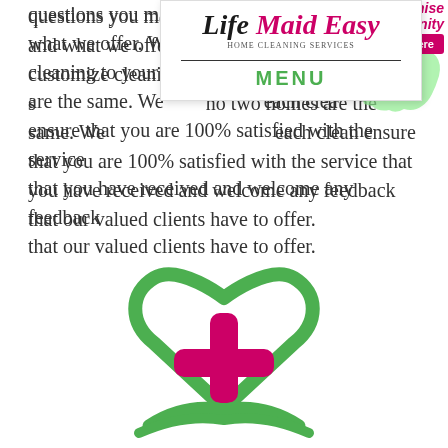questions you may have about our services and what we offer. We are happy to customize cleaning to your specific needs as no two homes are the same. We carefully evaluate each clean to ensure that you are 100% satisfied with the service that you have received and welcome any feedback that our valued clients have to offer.
[Figure (logo): Life Maid Easy Home Cleaning Services logo with navigation menu overlay]
[Figure (illustration): Green heart outline with pink plus/cross symbol inside, with green hands at bottom — health/eco cleaning icon]